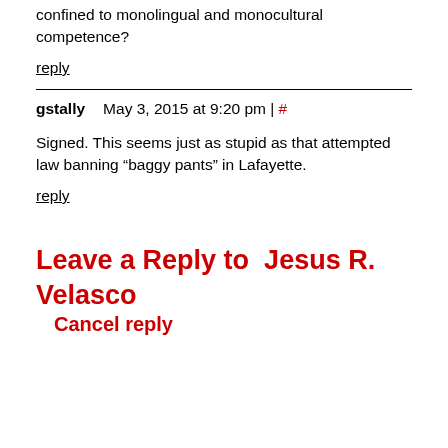confined to monolingual and monocultural competence?
reply
gstally   May 3, 2015 at 9:20 pm | #
Signed. This seems just as stupid as that attempted law banning “baggy pants” in Lafayette.
reply
Leave a Reply to  Jesus R. Velasco
Cancel reply